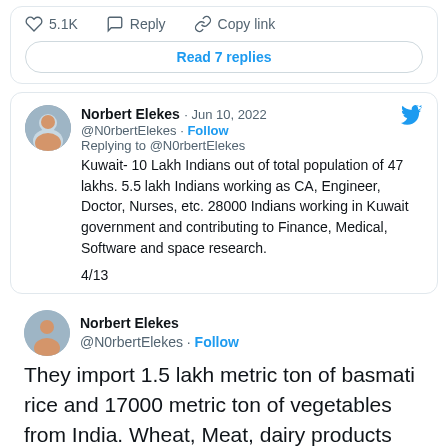[Figure (screenshot): Twitter/X action bar showing 5.1K likes, Reply, and Copy link buttons]
Read 7 replies
Norbert Elekes · Jun 10, 2022
@N0rbertElekes · Follow
Replying to @N0rbertElekes
Kuwait- 10 Lakh Indians out of total population of 47 lakhs. 5.5 lakh Indians working as CA, Engineer, Doctor, Nurses, etc. 28000 Indians working in Kuwait government and contributing to Finance, Medical, Software and space research.
4/13
Norbert Elekes
@N0rbertElekes · Follow
They import 1.5 lakh metric ton of basmati rice and 17000 metric ton of vegetables from India. Wheat, Meat, dairy products extra.